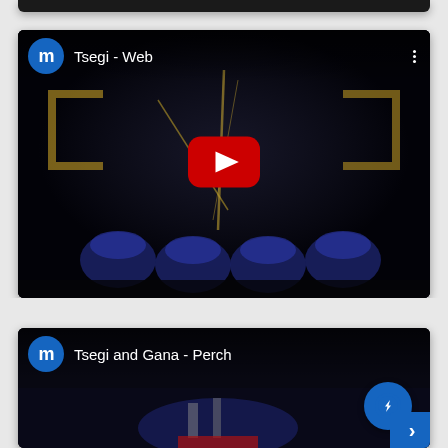[Figure (screenshot): Partial top of a dark video card, cropped at top of page]
[Figure (screenshot): YouTube-style video card showing 'Tsegi - Web' with avatar circle labeled 'm', play button overlay, dark industrial scene with blue shapes at bottom, three-dot menu top right]
[Figure (screenshot): Partially visible YouTube-style video card showing 'Tsegi and Gana - Perch' with avatar circle labeled 'm', Messenger icon overlay and blue arrow tab, cropped at bottom of page]